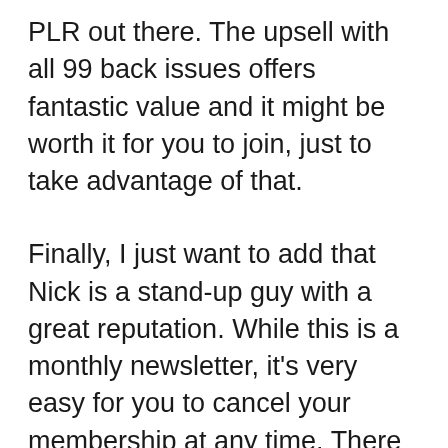PLR out there. The upsell with all 99 back issues offers fantastic value and it might be worth it for you to join, just to take advantage of that.
Finally, I just want to add that Nick is a stand-up guy with a great reputation. While this is a monthly newsletter, it’s very easy for you to cancel your membership at any time. There is no catch or shenanigans. Nick has stellar support and always overdelivers.